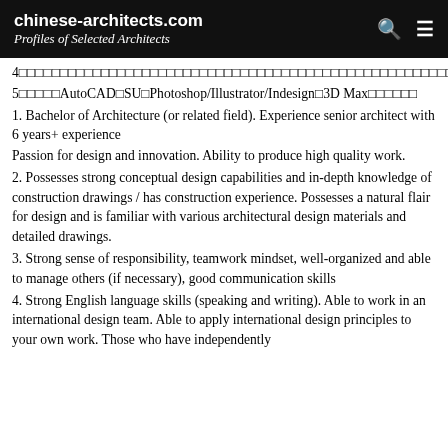chinese-architects.com
Profiles of Selected Architects
4□□□□□□□□□□□□□□□□□□□□□□□□□□□□□□□□□□□□□□□□□□□□□□□□□□□□□□□□□□□□□□□□□□□□□□□□
5□□□□□AutoCAD□SU□Photoshop/Illustrator/Indesign□3DMax□□□□□□
1. Bachelor of Architecture (or related field). Experience senior architect with 6 years+ experience
Passion for design and innovation. Ability to produce high quality work.
2. Possesses strong conceptual design capabilities and in-depth knowledge of construction drawings / has construction experience. Possesses a natural flair for design and is familiar with various architectural design materials and detailed drawings.
3. Strong sense of responsibility, teamwork mindset, well-organized and able to manage others (if necessary), good communication skills
4. Strong English language skills (speaking and writing). Able to work in an international design team. Able to apply international design principles to your own work. Those who have independently